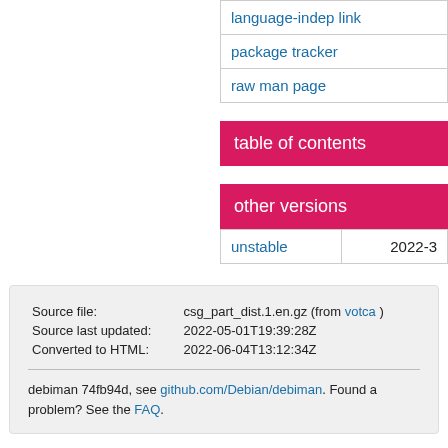| language-indep link |
| package tracker |
| raw man page |
table of contents
other versions
| unstable | 2022-3 |
| Source file: | csg_part_dist.1.en.gz (from votca ) |
| Source last updated: | 2022-05-01T19:39:28Z |
| Converted to HTML: | 2022-06-04T13:12:34Z |
debiman 74fb94d, see github.com/Debian/debiman. Found a problem? See the FAQ.